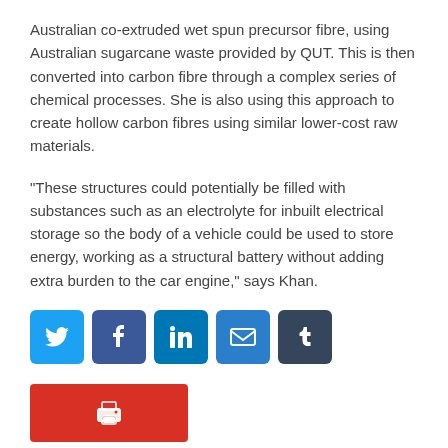Australian co-extruded wet spun precursor fibre, using Australian sugarcane waste provided by QUT. This is then converted into carbon fibre through a complex series of chemical processes. She is also using this approach to create hollow carbon fibres using similar lower-cost raw materials.
“These structures could potentially be filled with substances such as an electrolyte for inbuilt electrical storage so the body of a vehicle could be used to store energy, working as a structural battery without adding extra burden to the car engine,” says Khan.
[Figure (infographic): Social media share buttons: Twitter (blue), Facebook (blue), LinkedIn (blue), Email (blue), Tumblr (dark grey)]
[Figure (infographic): Red print button with printer icon]